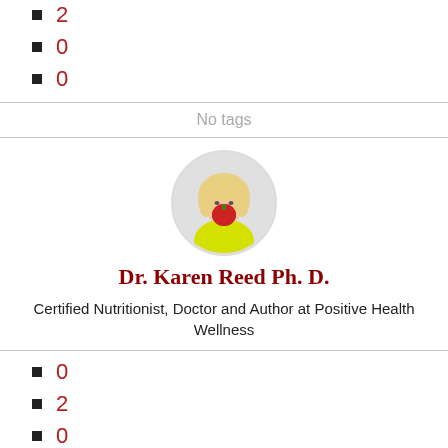2
0
0
No tags
[Figure (photo): Circular profile photo of Dr. Karen Reed, a blonde woman in a yellow top holding a red apple/cup near her face]
Dr. Karen Reed Ph. D.
Certified Nutritionist, Doctor and Author at Positive Health Wellness
0
2
0
0